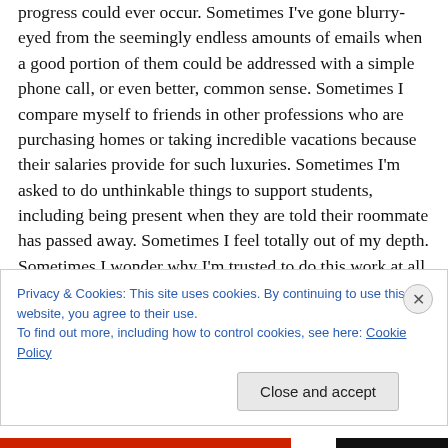progress could ever occur. Sometimes I've gone blurry-eyed from the seemingly endless amounts of emails when a good portion of them could be addressed with a simple phone call, or even better, common sense. Sometimes I compare myself to friends in other professions who are purchasing homes or taking incredible vacations because their salaries provide for such luxuries. Sometimes I'm asked to do unthinkable things to support students, including being present when they are told their roommate has passed away. Sometimes I feel totally out of my depth. Sometimes I wonder why I'm trusted to do this work at all.
Privacy & Cookies: This site uses cookies. By continuing to use this website, you agree to their use. To find out more, including how to control cookies, see here: Cookie Policy